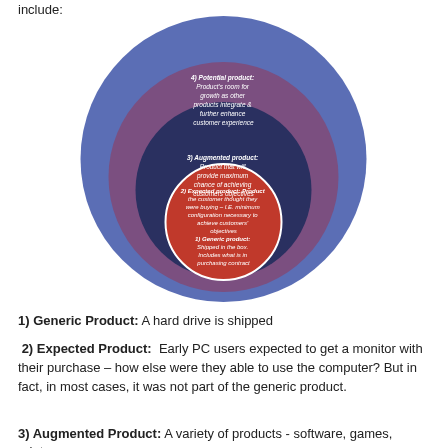include:
[Figure (infographic): Concentric circles diagram showing 4 product levels: 1) Generic product (red innermost circle): Shipped in the box. Includes what is in purchasing contract. 2) Expected product (dark navy): Product the customer thought they were buying – I.E. minimum configuration necessary to achieve customers' objectives. 3) Augmented product (purple): Product that will provide maximum chance of achieving customers objectives. 4) Potential product (blue outermost): Product's room for growth as other products integrate & further enhance customer experience.]
1) Generic Product: A hard drive is shipped
2) Expected Product: Early PC users expected to get a monitor with their purchase – how else were they able to use the computer? But in fact, in most cases, it was not part of the generic product.
3) Augmented Product: A variety of products - software, games, printers– are